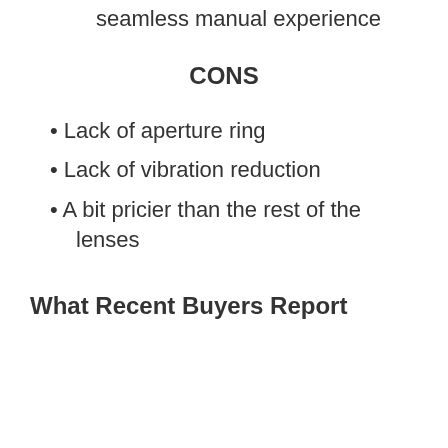Provides frictionless and seamless manual experience
CONS
Lack of aperture ring
Lack of vibration reduction
A bit pricier than the rest of the lenses
What Recent Buyers Report